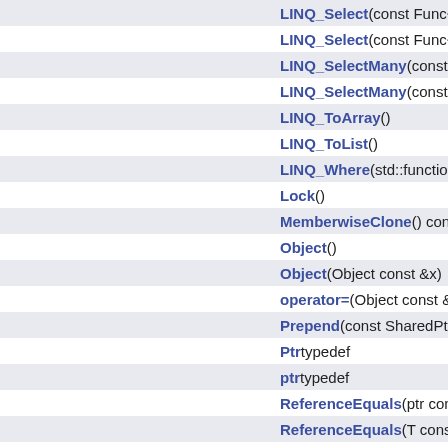LINQ_Select(const Func< So
LINQ_Select(const Func< So
LINQ_SelectMany(const Fun
LINQ_SelectMany(const Fun
LINQ_ToArray()
LINQ_ToList()
LINQ_Where(std::function< b
Lock()
MemberwiseClone() const
Object()
Object(Object const &x)
operator=(Object const &x)
Prepend(const SharedPtr< X
Ptr typedef
ptr typedef
ReferenceEquals(ptr const &
ReferenceEquals(T const &o
ReferenceEquals(T const &o